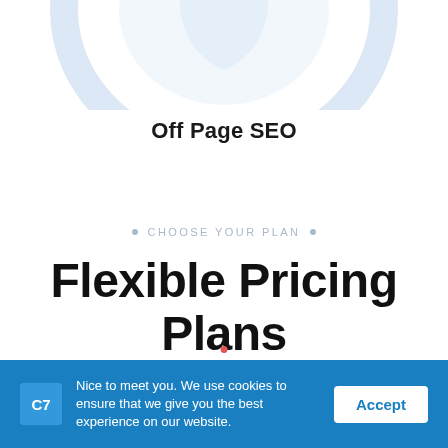[Figure (illustration): Light blue decorative circular/shield graphic at the top of the page, partially cropped]
Off Page SEO
• CHOOSE YOUR PLAN •
Flexible Pricing Plans
We have experience working with large and small businesses and are ready to
Nice to meet you. We use cookies to ensure that we give you the best experience on our website.